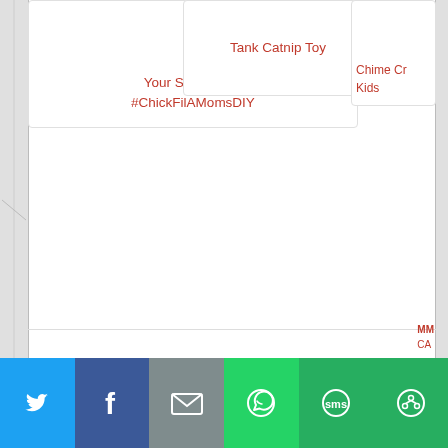[Figure (screenshot): Partial view of a blog/website page showing content cards and a social sharing bar. Left and right edges show partial image strips. Three cards visible at top with red text links. Bottom shows social share buttons: Twitter (blue), Facebook (dark blue), Email (gray), WhatsApp (green), SMS (green), Copy (green). Right side shows partial text 'MM' and 'CA' in red.]